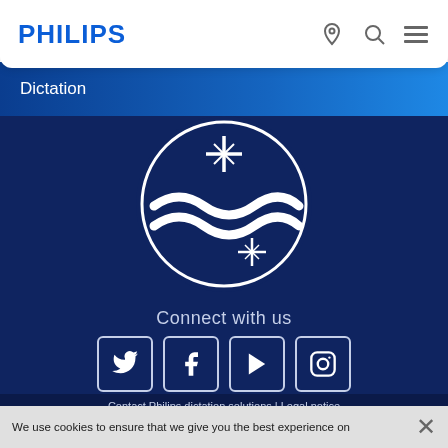PHILIPS
Dictation
[Figure (logo): Philips shield logo with waves and stars, white on dark navy blue circular background]
Connect with us
[Figure (infographic): Social media icons row: Twitter, Facebook, YouTube, Instagram — white icons in rounded square outlines]
Select country  EE – English ›
Contact Philips dictation solutions | Legal notice | Cookie notice | Privacy policy | Terms of use
We use cookies to ensure that we give you the best experience on